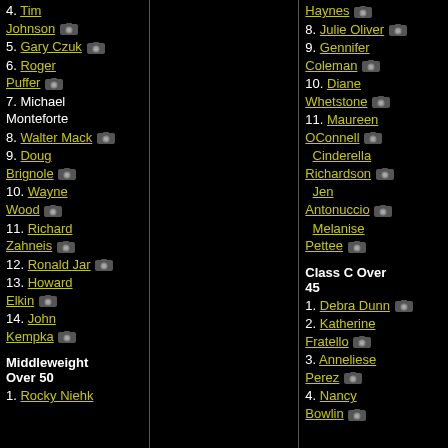4. Tim Johnson
5. Gary Czuk
6. Roger Puffer
7. Michael Monteforte
8. Walter Mack
9. Doug Brignole
10. Wayne Wood
11. Richard Zahneis
12. Ronald Jar
13. Howard Elkin
14. John Kempka
Middleweight Over 50
1. Rocky Niehk
Haynes
8. Julie Oliver
9. Gennifer Coleman
10. Diane Whetstone
11. Maureen OConnell
Cinderella Richardson
Jen Antonuccio
Melanise Pettee
Class C Over 45
1. Debra Dunn
2. Katherine Fratello
3. Anneliese Perez
4. Nancy Bowlin